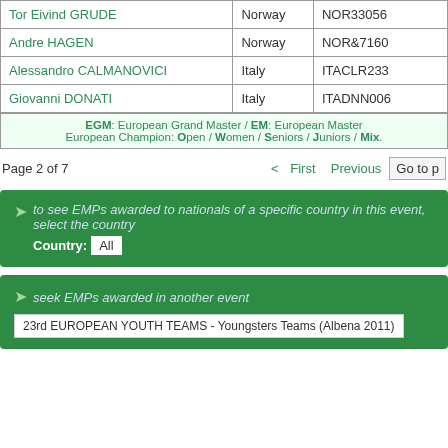| Name | Country | ID |
| --- | --- | --- |
| Tor Eivind GRUDE | Norway | NOR33056 |
| Andre HAGEN | Norway | NOR&7160 |
| Alessandro CALMANOVICI | Italy | ITACLR233 |
| Giovanni DONATI | Italy | ITADNN006 |
EGM: European Grand Master / EM: European Master European Champion: Open / Women / Seniors / Juniors / Mix...
Page 2 of 7  < First  Previous  Go to p...
to see EMPs awarded to nationals of a specific country in this event, select the country  Country: All
seek EMPs awarded in another event  23rd EUROPEAN YOUTH TEAMS - Youngsters Teams (Albena 2011)